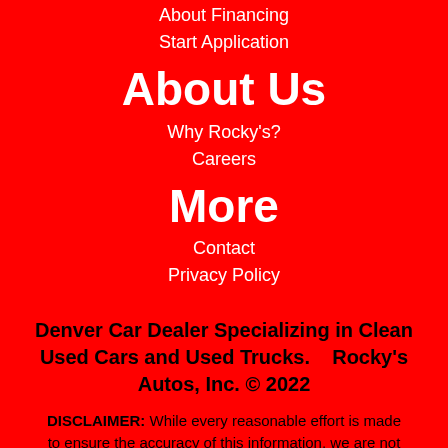About Financing
Start Application
About Us
Why Rocky's?
Careers
More
Contact
Privacy Policy
Denver Car Dealer Specializing in Clean Used Cars and Used Trucks.    Rocky's Autos, Inc. © 2022
DISCLAIMER: While every reasonable effort is made to ensure the accuracy of this information, we are not responsible for any inadvertent errors, omissions, or